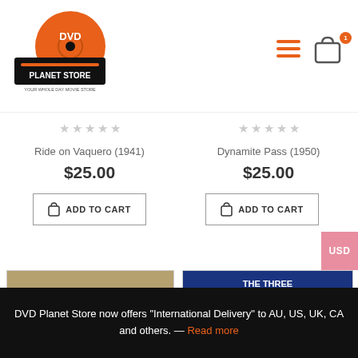[Figure (logo): DVD Planet Store logo - orange disc with black record player, text 'DVD Planet Store, Your whole day movie store']
[Figure (other): Hamburger navigation menu icon (3 orange horizontal lines)]
[Figure (other): Shopping cart icon with orange badge showing number 1]
★★★★★  Ride on Vaquero (1941)  $25.00
★★★★★  Dynamite Pass (1950)  $25.00
ADD TO CART
ADD TO CART
USD
[Figure (photo): Movie poster for 'The Blazing Sun' - cowboy on horse silhouette, orange text]
[Figure (photo): Movie poster for 'Call the Mesquiteers' - The Three Mesquiteers with Bob Livingston, Ray Corrigan, Max Terhune]
★★★★★
★★★★★
DVD Planet Store now offers "International Delivery" to AU, US, UK, CA and others. — Read more